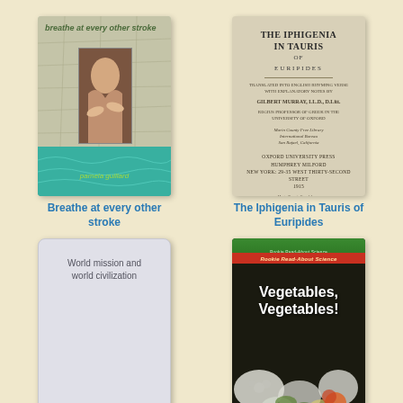[Figure (illustration): Book cover: Breathe at every other stroke by Pamela Guillard. Map background with swimming hand image, teal water at bottom.]
Breathe at every other stroke
[Figure (illustration): Book cover: The Iphigenia in Tauris of Euripides. Tan/cream colored title page style cover with Oxford University Press text.]
The Iphigenia in Tauris of Euripides
[Figure (illustration): Book cover placeholder: World mission and world civilization. Light gray/white minimal cover.]
[Figure (illustration): Book cover: Vegetables, Vegetables! from Rookie Read-About Science series. Dark background with colorful vegetables photo.]